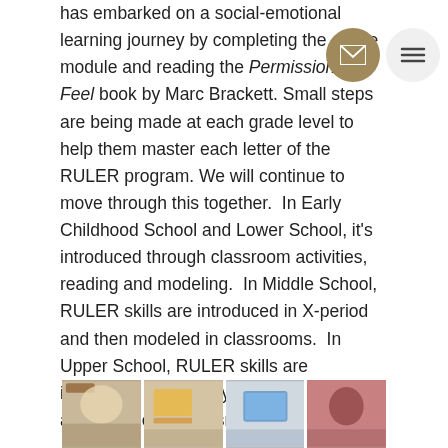has embarked on a social-emotional learning journey by completing the online module and reading the Permission to Feel book by Marc Brackett. Small steps are being made at each grade level to help them master each letter of the RULER program. We will continue to move through this together.  In Early Childhood School and Lower School, it's introduced through classroom activities, reading and modeling.  In Middle School, RULER skills are introduced in X-period and then modeled in classrooms.  In Upper School, RULER skills are introduced in advisory and then reinforced and modeled in classrooms.
[Figure (photo): A strip of four classroom photos showing students at work]